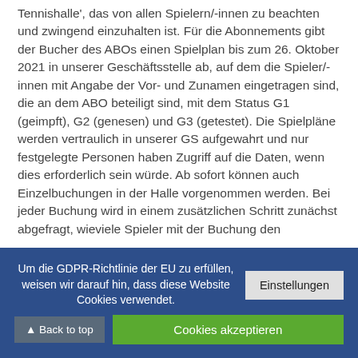Tennishalle', das von allen Spielern/-innen zu beachten und zwingend einzuhalten ist. Für die Abonnements gibt der Bucher des ABOs einen Spielplan bis zum 26. Oktober 2021 in unserer Geschäftsstelle ab, auf dem die Spieler/-innen mit Angabe der Vor- und Zunamen eingetragen sind, die an dem ABO beteiligt sind, mit dem Status G1 (geimpft), G2 (genesen) und G3 (getestet). Die Spielpläne werden vertraulich in unserer GS aufgewahrt und nur festgelegte Personen haben Zugriff auf die Daten, wenn dies erforderlich sein würde. Ab sofort können auch Einzelbuchungen in der Halle vorgenommen werden. Bei jeder Buchung wird in einem zusätzlichen Schritt zunächst abgefragt, wieviele Spieler mit der Buchung den
Um die GDPR-Richtlinie der EU zu erfüllen, weisen wir darauf hin, dass diese Website Cookies verwendet.
Einstellungen
▲ Back to top
Cookies akzeptieren